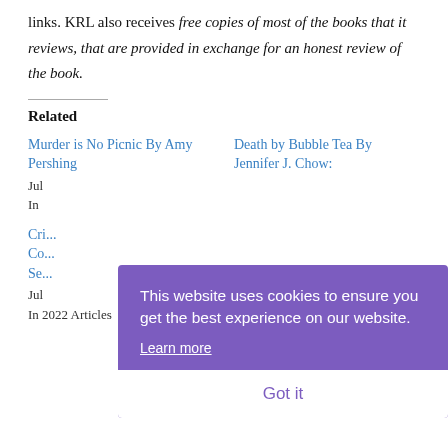links. KRL also receives free copies of most of the books that it reviews, that are provided in exchange for an honest review of the book.
Related
Murder is No Picnic By Amy Pershing
Death by Bubble Tea By Jennifer J. Chow:
Jul... In...
Cri... Co... Se...
Jul... In 2022 Articles
[Figure (screenshot): Cookie consent banner overlay with purple background. Text reads: 'This website uses cookies to ensure you get the best experience on our website.' with a 'Learn more' underlined link and a white 'Got it' button.]